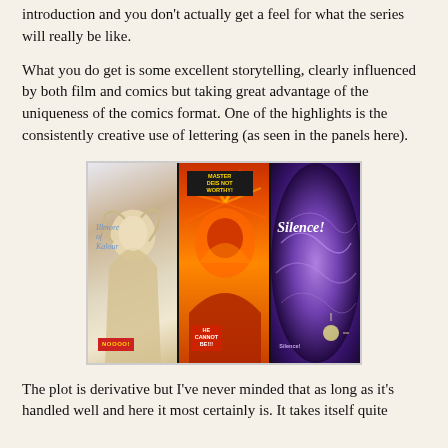introduction and you don't actually get a feel for what the series will really be like.
What you do get is some excellent storytelling, clearly influenced by both film and comics but taking great advantage of the uniqueness of the comics format. One of the highlights is the consistently creative use of lettering (as seen in the panels here).
[Figure (illustration): Three vertical comic book panels side by side on a black background. Left panel shows a light-colored figure with blue italic text and a red badge reading 'NOOOO!'. Middle panel shows a fiery red/orange demonic figure with a dark badge at top reading 'MASTER DEIS NOT WORTHY!' and a bottom badge reading 'HE CANNOT BE!!!'. Right panel shows a purple swirling background with white italic text reading 'Silence!' and a bottom label.]
The plot is derivative but I've never minded that as long as it's handled well and here it most certainly is. It takes itself quite